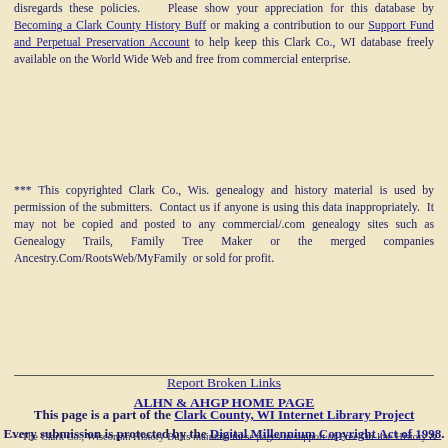disregards these policies.    Please show your appreciation for this database by Becoming a Clark County History Buff or making a contribution to our Support Fund and Perpetual Preservation Account to help keep this Clark Co., WI database freely available on the World Wide Web and free from commercial enterprise.
*** This copyrighted Clark Co., Wis. genealogy and history material is used by permission of the submitters.  Contact us if anyone is using this data inappropriately.  It may not be copied and posted to any commercial/.com genealogy sites such as Genealogy Trails, Family Tree Maker or the merged companies Ancestry.Com/RootsWeb/MyFamily  or sold for profit.
Report Broken Links
ALHN & AHGP HOME PAGE
This page is a part of the Clark County, WI Internet Library Project
Every submission is protected by the Digital Millennium Copyright Act of 1998.
~~The Clark Co., Wisconsin History Buffs maintain these pages in support of Free On-line History & Genealogy~~